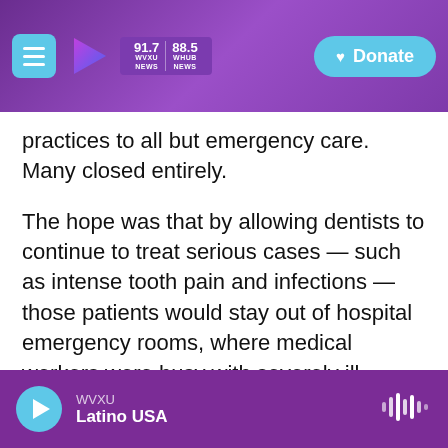WVXU 91.7 NEWS | WHUS 88.5 NEWS — Donate
practices to all but emergency care. Many closed entirely.
The hope was that by allowing dentists to continue to treat serious cases — such as intense tooth pain and infections — those patients would stay out of hospital emergency rooms, where medical workers were busy with severely ill coronavirus patients. And because the personal protective gear dentists and other health care providers need was in short supply, routine dental checkups and cleanings were deemed nonessential at least initially.
WVXU — Latino USA